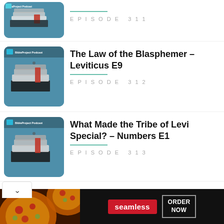[Figure (illustration): BibleProject Podcast thumbnail showing layered book illustration on teal background, partial view at top]
EPISODE 311
[Figure (illustration): BibleProject Podcast thumbnail showing layered book illustration on teal background]
The Law of the Blasphemer – Leviticus E9
EPISODE 312
[Figure (illustration): BibleProject Podcast thumbnail showing layered book illustration on teal background]
What Made the Tribe of Levi Special? – Numbers E1
EPISODE 313
What the Nazorite Vow?
[Figure (other): Seamless food delivery app advertisement banner with pizza image and ORDER NOW button]